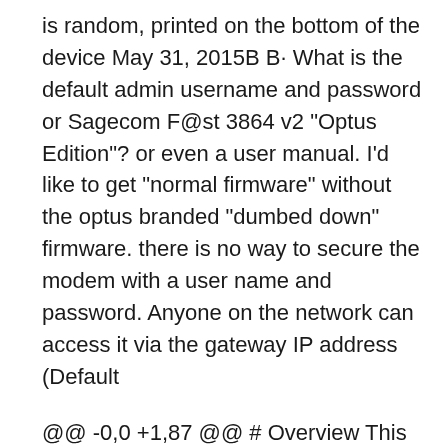is random, printed on the bottom of the device May 31, 2015B B· What is the default admin username and password or Sagecom F@st 3864 v2 "Optus Edition"? or even a user manual. I'd like to get "normal firmware" without the optus branded "dumbed down" firmware. there is no way to secure the modem with a user name and password. Anyone on the network can access it via the gateway IP address (Default
@@ -0,0 +1,87 @@ # Overview This repository is a collection of tools and tips for the Optus Sagemcom: F@ST 3864 broadband modem. # Getting Access to Advanced Configuration Options The advanced features of the modem are not accessible by default and require Set